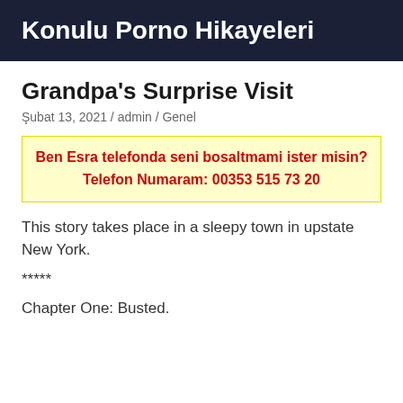Konulu Porno Hikayeleri
Grandpa's Surprise Visit
Şubat 13, 2021 / admin / Genel
Ben Esra telefonda seni bosaltmami ister misin? Telefon Numaram: 00353 515 73 20
This story takes place in a sleepy town in upstate New York.
*****
Chapter One: Busted.